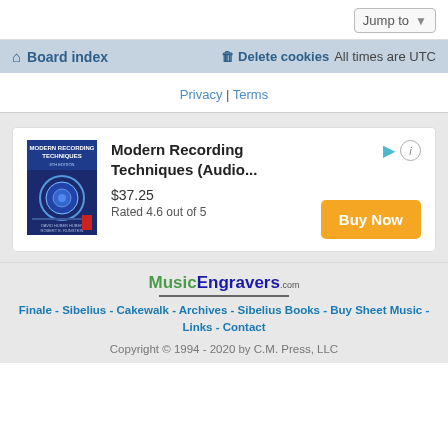Jump to
Board index  Delete cookies  All times are UTC
Privacy | Terms
[Figure (other): Advertisement for Modern Recording Techniques (Audio...) book, $37.25, Rated 4.6 out of 5, with Buy Now button]
[Figure (logo): MusicEngravers.com logo]
Finale - Sibelius - Cakewalk - Archives - Sibelius Books - Buy Sheet Music - Links - Contact
Copyright © 1994 - 2020 by C.M. Press, LLC